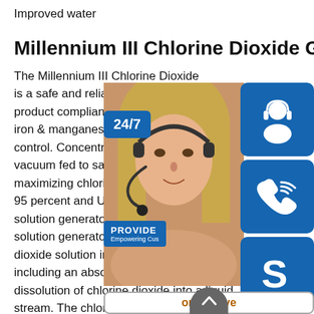Improved water
Millennium III Chlorine Dioxide Generators
The Millennium III Chlorine Dioxide is a safe and reliable solution for disinfection, product compliance, CxT disinfection, iron & manganese removal, and taste control. Concentrated chemical precursors are vacuum fed to safely control reactions, maximizing chlorine dioxide yield efficiency to 95 percent and US7754057B2 - Chlorine dioxide solution generator - Google A chlorine dioxide solution generator, which injects a chlorine dioxide solution into a pressurized fluid system, including an absorption loop for effecting the dissolution of chlorine dioxide into a liquid stream. The chlorine dioxide...
[Figure (photo): Chat support overlay with a woman wearing a headset, a 24/7 badge, headset icon, phone icon, Skype icon, PROVIDE Empowering Customers text, and online live button]